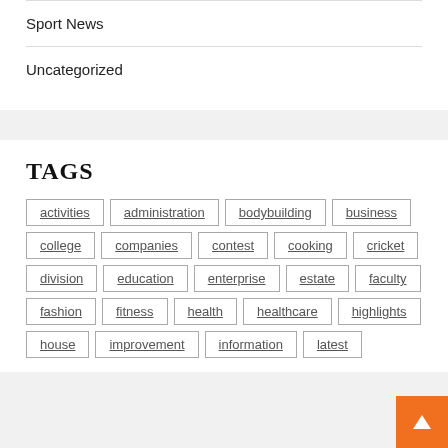Sport News
Uncategorized
TAGS
activities
administration
bodybuilding
business
college
companies
contest
cooking
cricket
division
education
enterprise
estate
faculty
fashion
fitness
health
healthcare
highlights
house
improvement
information
latest